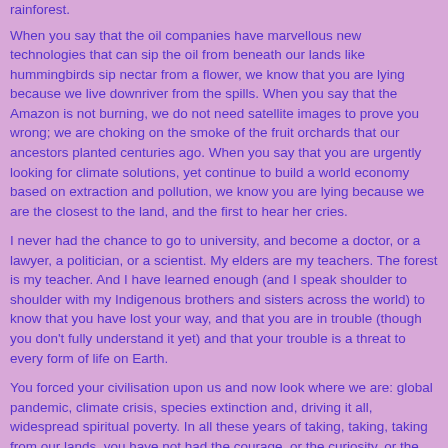rainforest.
When you say that the oil companies have marvellous new technologies that can sip the oil from beneath our lands like hummingbirds sip nectar from a flower, we know that you are lying because we live downriver from the spills. When you say that the Amazon is not burning, we do not need satellite images to prove you wrong; we are choking on the smoke of the fruit orchards that our ancestors planted centuries ago. When you say that you are urgently looking for climate solutions, yet continue to build a world economy based on extraction and pollution, we know you are lying because we are the closest to the land, and the first to hear her cries.
I never had the chance to go to university, and become a doctor, or a lawyer, a politician, or a scientist. My elders are my teachers. The forest is my teacher. And I have learned enough (and I speak shoulder to shoulder with my Indigenous brothers and sisters across the world) to know that you have lost your way, and that you are in trouble (though you don't fully understand it yet) and that your trouble is a threat to every form of life on Earth.
You forced your civilisation upon us and now look where we are: global pandemic, climate crisis, species extinction and, driving it all, widespread spiritual poverty. In all these years of taking, taking, taking from our lands, you have not had the courage, or the curiosity, or the respect to get to know us. To understand how we see, and think, and feel, and what we know about life on this Earth.